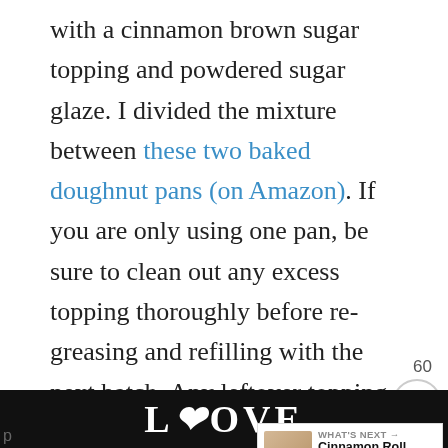with a cinnamon brown sugar topping and powdered sugar glaze. I divided the mixture between these two baked doughnut pans (on Amazon). If you are only using one pan, be sure to clean out any excess topping thoroughly before re-greasing and refilling with the next batch. Any leftover topping will burn during the second baking time.
The easiest way to fill the (well-greased)
[Figure (other): UI overlay: heart/save button (teal circle), share count 60, share icon button, What's Next panel showing Cinnamon Roll Cookies thumbnail]
[Figure (other): Bottom advertisement bar with dark background showing stylized LOOVE text logo in center, partial text on left and right sides, close X button]